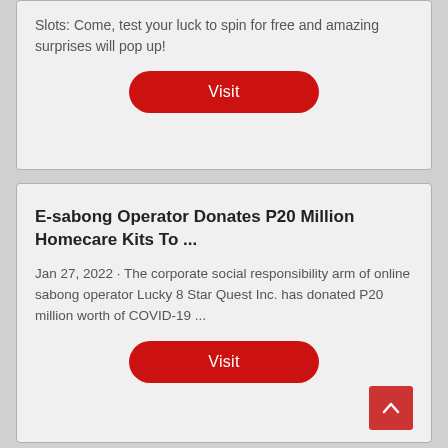Slots: Come, test your luck to spin for free and amazing surprises will pop up!
Visit
E-sabong Operator Donates P20 Million Homecare Kits To ...
Jan 27, 2022 · The corporate social responsibility arm of online sabong operator Lucky 8 Star Quest Inc. has donated P20 million worth of COVID-19 ...
Visit